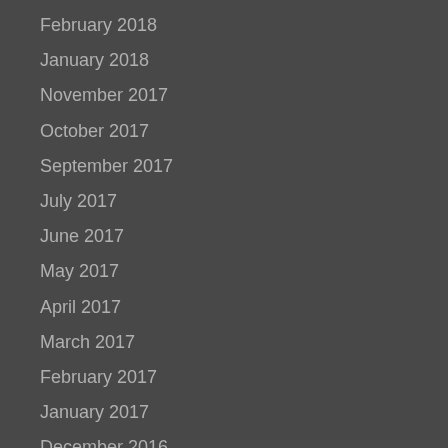February 2018
January 2018
November 2017
October 2017
September 2017
July 2017
June 2017
May 2017
April 2017
March 2017
February 2017
January 2017
December 2016
November 2016